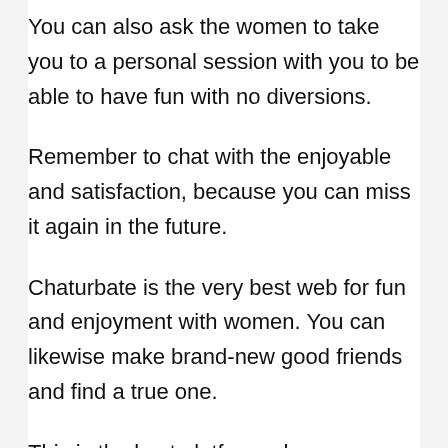You can also ask the women to take you to a personal session with you to be able to have fun with no diversions.
Remember to chat with the enjoyable and satisfaction, because you can miss it again in the future.
Chaturbate is the very best web for fun and enjoyment with women. You can likewise make brand-new good friends and find a true one.
This is the best platform where you can